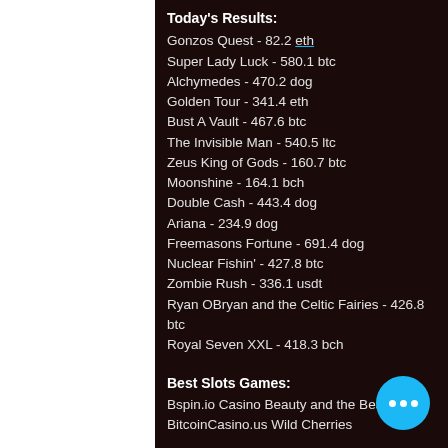Today's Results:
Gonzos Quest - 82.2 eth
Super Lady Luck - 580.1 btc
Alchymedes - 470.2 dog
Golden Tour - 341.4 eth
Bust A Vault - 467.6 btc
The Invisible Man - 540.5 ltc
Zeus King of Gods - 160.7 btc
Moonshine - 164.1 bch
Double Cash - 443.4 dog
Ariana - 234.9 dog
Freemasons Fortune - 691.4 dog
Nuclear Fishin' - 427.8 btc
Zombie Rush - 336.1 usdt
Ryan OBryan and the Celtic Fairies - 426.8 btc
Royal Seven XXL - 418.3 bch
Best Slots Games:
Bspin.io Casino Beauty and the Beast
BitcoinCasino.us Wild Cherries